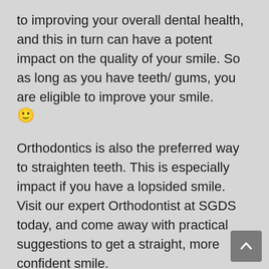to improving your overall dental health, and this in turn can have a potent impact on the quality of your smile. So as long as you have teeth/ gums, you are eligible to improve your smile. 🙂
Orthodontics is also the preferred way to straighten teeth. This is especially impact if you have a lopsided smile. Visit our expert Orthodontist at SGDS today, and come away with practical suggestions to get a straight, more confident smile.
Also, Orthodontics is not merely about improving aesthetics. In some cases, teeth deformations and non-alignment can have an adverse impact on your dental health, on your ability to chew and hence your digestive health, and sometimes even affect your speech. These are also problems that are unlikely to get fixed without dental intervention. In fact, they worsen over time, and can cause serious and often painful problems